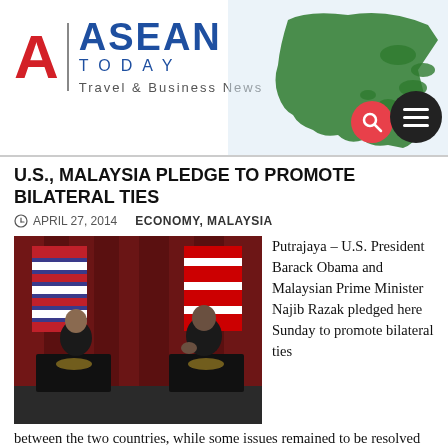[Figure (logo): ASEAN Today logo with red A, blue ASEAN TODAY text, Travel & Business News tagline, and a green map of Southeast Asia with search and menu buttons]
U.S., MALAYSIA PLEDGE TO PROMOTE BILATERAL TIES
APRIL 27, 2014    ECONOMY, MALAYSIA
[Figure (photo): Photo of two men at podiums at a press conference, with red curtain and flags in the background. One man in dark suit on left, one in dark suit on right gesturing.]
Putrajaya – U.S. President Barack Obama and Malaysian Prime Minister Najib Razak pledged here Sunday to promote bilateral ties between the two countries, while some issues remained to be resolved in the Trans-Pacific Partnership Agreement (TPP)